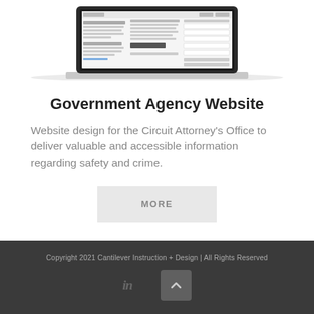[Figure (screenshot): Screenshot of a government agency website displayed on a laptop computer mockup showing multiple content sections and navigation elements.]
Government Agency Website
Website design for the Circuit Attorney’s Office to deliver valuable and accessible information regarding safety and crime.
MORE
Copyright 2021 Cantilever Instruction + Design | All Rights Reserved